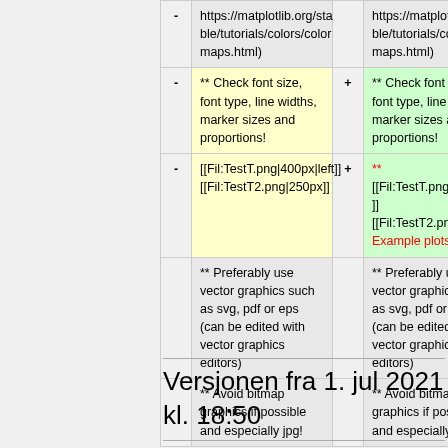| -/+ | Left | Right |
| --- | --- | --- |
| - | https://matplotlib.org/stable/tutorials/colors/colormaps.html) | https://matplotlib.org/stable/tutorials/colors/colormaps.html) |
| -/+ | ** Check font size, font type, line widths, marker sizes and proportions! | ** Check font size, font type, line widths, marker sizes and proportions! |
| -/+ | [[Fil:TestT.png|400px|left]][[Fil:TestT2.png|250px]] | ** [[Fil:TestT.png|400px|left]] [[Fil:TestT2.png|250px|none]] Example plots |
|  | ** Preferably use vector graphics such as svg, pdf or eps (can be edited with vector graphics editors) | ** Preferably use vector graphics such as svg, pdf or eps (can be edited with vector graphics editors) |
|  | ** Avoid bitmap graphics if possible and especially jpg! | ** Avoid bitmap graphics if possible and especially jpg! |
Versjonen fra 1. jul 2021 kl. 18:50